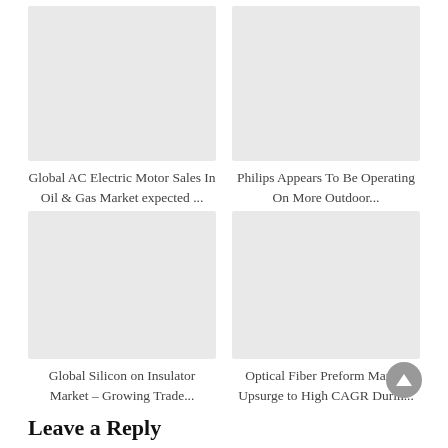[Figure (photo): Placeholder image (light gray rectangle) for Global AC Electric Motor Sales In Oil & Gas Market article]
Global AC Electric Motor Sales In Oil & Gas Market expected ...
[Figure (photo): Placeholder image (light gray rectangle) for Philips Appears To Be Operating On More Outdoor... article]
Philips Appears To Be Operating On More Outdoor...
[Figure (photo): Placeholder image (light gray rectangle) for Global Silicon on Insulator Market article]
Global Silicon on Insulator Market – Growing Trade...
[Figure (photo): Placeholder image (light gray rectangle) for Optical Fiber Preform Market article]
Optical Fiber Preform Market Upsurge to High CAGR Durin...
Leave a Reply